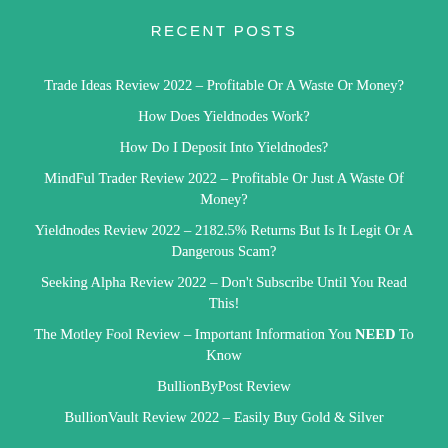RECENT POSTS
Trade Ideas Review 2022 – Profitable Or A Waste Or Money?
How Does Yieldnodes Work?
How Do I Deposit Into Yieldnodes?
MindFul Trader Review 2022 – Profitable Or Just A Waste Of Money?
Yieldnodes Review 2022 – 2182.5% Returns But Is It Legit Or A Dangerous Scam?
Seeking Alpha Review 2022 – Don't Subscribe Until You Read This!
The Motley Fool Review – Important Information You NEED To Know
BullionByPost Review
BullionVault Review 2022 – Easily Buy Gold & Silver